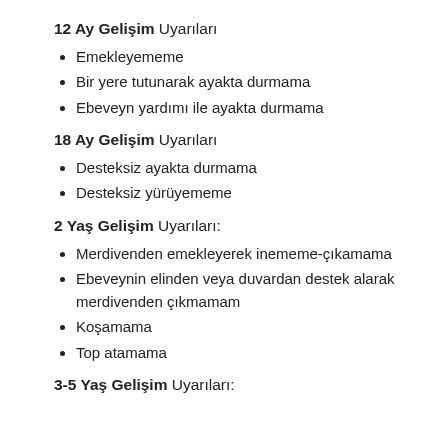12 Ay Gelişim Uyarıları
Emekleyememe
Bir yere tutunarak ayakta durmama
Ebeveyn yardımı ile ayakta durmama
18 Ay Gelişim Uyarıları
Desteksiz ayakta durmama
Desteksiz yürüyememe
2 Yaş Gelişim Uyarıları:
Merdivenden emekleyerek inememe-çıkamama
Ebeveynin elinden veya duvardan destek alarak merdivenden çıkmamam
Koşamama
Top atamama
3-5 Yaş Gelişim Uyarıları: